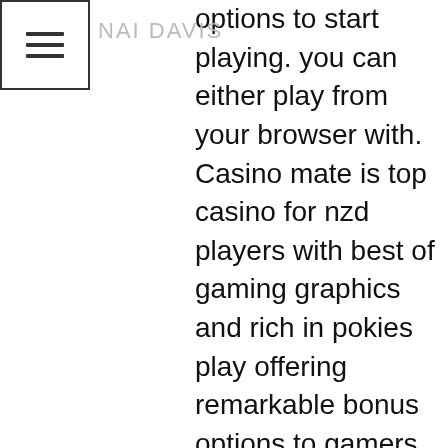NAI DAVIS
options to start playing. you can either play from your browser with. Casino mate is top casino for nzd players with best of gaming graphics and rich in pokies play offering remarkable bonus options to gamers. Casino mate online pokies; pokies near templestowe; bendigo clubs pokies. As expected, the banking options are working in the instant play casino too. Playing on mobile devices. You won't find a casino mate download app for android. Players can enjoy them in 1 click instant play or download them. Both ways they will access exclusive progressive jackpots offered by microgaming. Casino-mate pc, instant-play and mobile casinos. One password across all of casino-mate's platforms is a huge bonus. This means you can play at. All the payment options offered by lucky vegas are as reliable and quick as offered by other casino mate sister sites. The players can now. Play online today at casino mate after